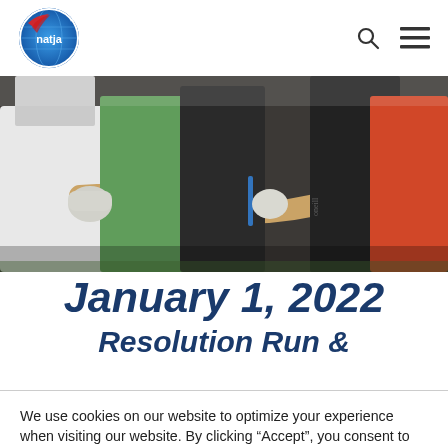natja logo, search icon, menu icon
[Figure (photo): Runners/participants in a race, close-up of torsos and hands, some wearing gloves and colorful athletic wear, blurred motion background]
January 1, 2022
Resolution Run &
We use cookies on our website to optimize your experience when visiting our website. By clicking “Accept”, you consent to the use of all the cookies.
Cookie settings  ACCEPT